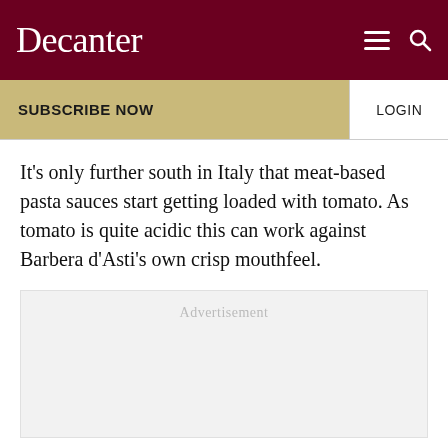Decanter
SUBSCRIBE NOW
LOGIN
It's only further south in Italy that meat-based pasta sauces start getting loaded with tomato. As tomato is quite acidic this can work against Barbera d'Asti's own crisp mouthfeel.
[Figure (other): Advertisement placeholder box with light grey background and 'Advertisement' label in grey text]